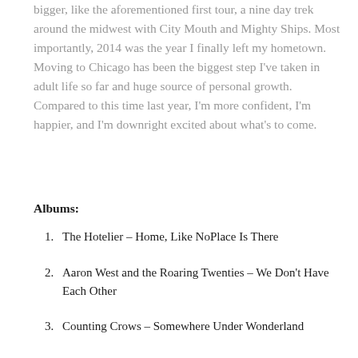bigger, like the aforementioned first tour, a nine day trek around the midwest with City Mouth and Mighty Ships. Most importantly, 2014 was the year I finally left my hometown. Moving to Chicago has been the biggest step I've taken in adult life so far and huge source of personal growth. Compared to this time last year, I'm more confident, I'm happier, and I'm downright excited about what's to come.
Albums:
The Hotelier – Home, Like NoPlace Is There
Aaron West and the Roaring Twenties – We Don't Have Each Other
Counting Crows – Somewhere Under Wonderland